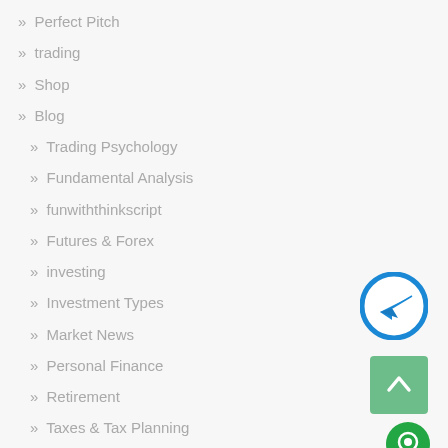» Perfect Pitch
» trading
» Shop
» Blog
» Trading Psychology
» Fundamental Analysis
» funwiththinkscript
» Futures & Forex
» investing
» Investment Types
» Market News
» Personal Finance
» Retirement
» Taxes & Tax Planning
» Technical Analysis & Charting
» Tools
» Trading Basics
» Trading Strategies
[Figure (illustration): Telegram send button icon — blue circle with white paper airplane arrow pointing upper right]
[Figure (illustration): Scroll to top button — green rounded square with white upward arrow]
[Figure (illustration): Chat/support button — green circle with white chat bubble icon]